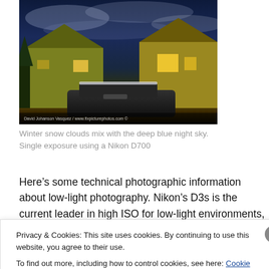[Figure (photo): Night sky photo of a house and car with winter snow clouds and deep blue sky. Photo credit: David Johanson Vasquez / www.fixpicturephotos.com]
Winter snow clouds mix with the deep blue night sky. Single exposure using a Nikon D700
Here’s some technical photographic information about low-light photography. Nikon’s D3s is the current leader in high ISO for low-light environments, using the second-generation of full frame, FX sensors. The Nikon D3 and
Privacy & Cookies: This site uses cookies. By continuing to use this website, you agree to their use.
To find out more, including how to control cookies, see here: Cookie Policy
Close and accept